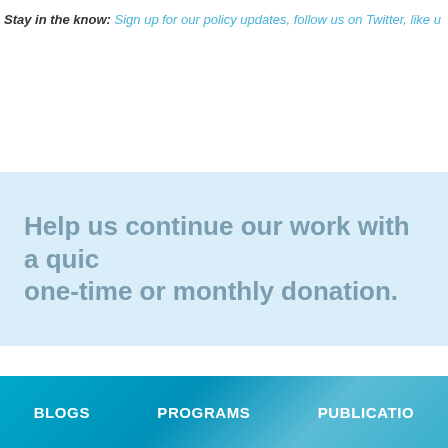Stay in the know: Sign up for our policy updates, follow us on Twitter, like u
Help us continue our work with a quick one-time or monthly donation.
BLOGS   PROGRAMS   PUBLICATIO